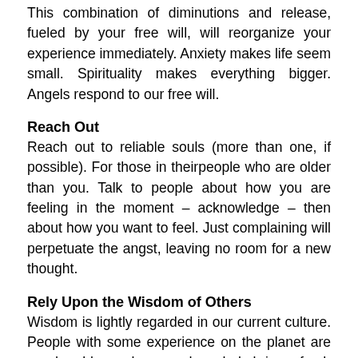This combination of diminutions and release, fueled by your free will, will reorganize your experience immediately. Anxiety makes life seem small. Spirituality makes everything bigger. Angels respond to our free will.
Reach Out
Reach out to reliable souls (more than one, if possible). For those in theirpeople who are older than you. Talk to people about how you are feeling in the moment – acknowledge – then about how you want to feel. Just complaining will perpetuate the angst, leaving no room for a new thought.
Rely Upon the Wisdom of Others
Wisdom is lightly regarded in our current culture. People with some experience on the planet are good problem solvers, and can help bring a fresh perspective to any problem. It helps to hear an actual human voice or